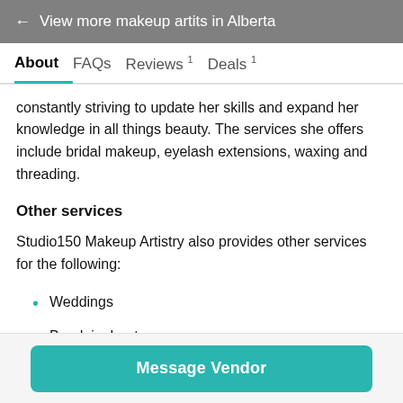← View more makeup artits in Alberta
About   FAQs   Reviews 1   Deals 1
constantly striving to update her skills and expand her knowledge in all things beauty. The services she offers include bridal makeup, eyelash extensions, waxing and threading.
Other services
Studio150 Makeup Artistry also provides other services for the following:
Weddings
Boudoir shoots
Message Vendor